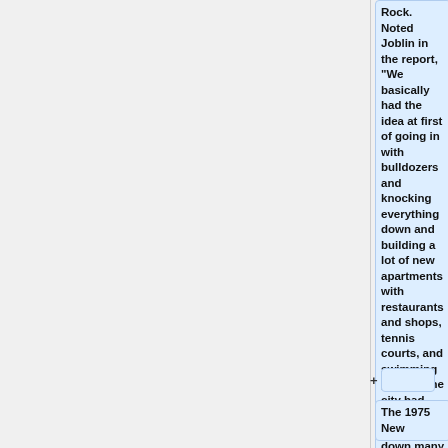Rock. Noted Joblin in the report, "We basically had the idea at first of going in with bulldozers and knocking everything down and building a lot of new apartments with restaurants and shops, tennis courts, and swimming pools." The city had successfully knocked down many buildings, but had been much less effective at filling up the now vacant lots.
+
The 1975 New